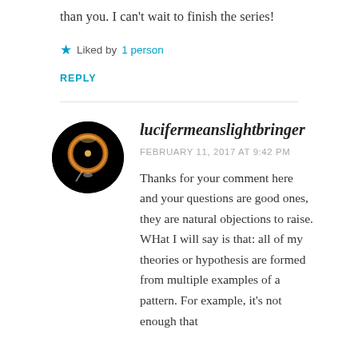than you. I can't wait to finish the series!
★ Liked by 1 person
REPLY
lucifermeanslightbringer
FEBRUARY 11, 2017 AT 9:42 PM
Thanks for your comment here and your questions are good ones, they are natural objections to raise. WHat I will say is that: all of my theories or hypothesis are formed from multiple examples of a pattern. For example, it's not enough that